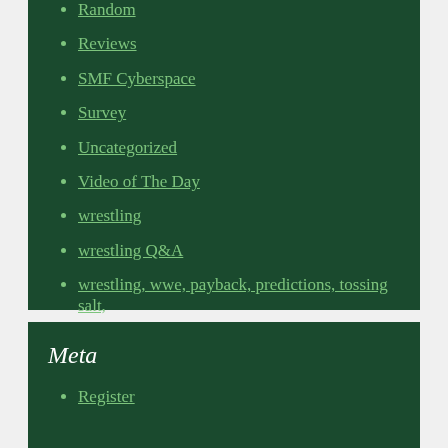Random
Reviews
SMF Cyberspace
Survey
Uncategorized
Video of The Day
wrestling
wrestling Q&A
wrestling, wwe, payback, predictions, tossing salt,
wwe
Meta
Register